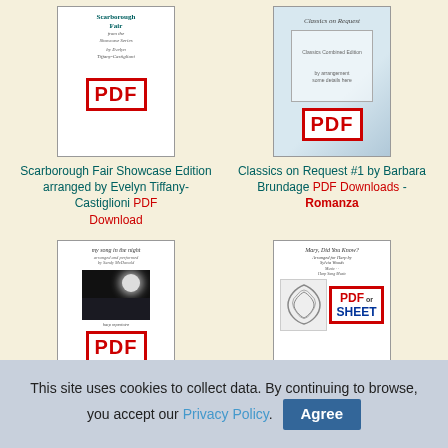[Figure (illustration): Book cover for Scarborough Fair with PDF badge]
[Figure (illustration): Book cover for Classics on Request with PDF badge]
Scarborough Fair Showcase Edition arranged by Evelyn Tiffany-Castiglioni PDF Download
Classics on Request #1 by Barbara Brundage PDF Downloads - Romanza
[Figure (illustration): Book cover for My Song in the Night with PDF badge]
[Figure (illustration): Book cover for Mary, Did You Know? with PDF or Sheet badge]
My Song in the Night
Mary, Did You Know?
This site uses cookies to collect data. By continuing to browse, you accept our Privacy Policy.  Agree